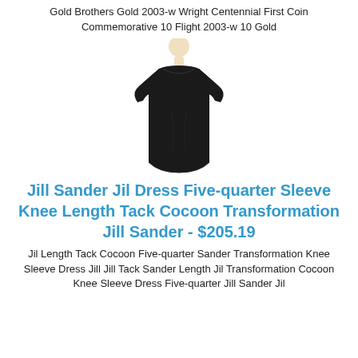Gold Brothers Gold 2003-w Wright Centennial First Coin Commemorative 10 Flight 2003-w 10 Gold
[Figure (photo): A black dress with five-quarter sleeves displayed on a white mannequin torso against a white background.]
Jill Sander Jil Dress Five-quarter Sleeve Knee Length Tack Cocoon Transformation Jill Sander - $205.19
Jil Length Tack Cocoon Five-quarter Sander Transformation Knee Sleeve Dress Jill Jill Tack Sander Length Jil Transformation Cocoon Knee Sleeve Dress Five-quarter Jill Sander Jil